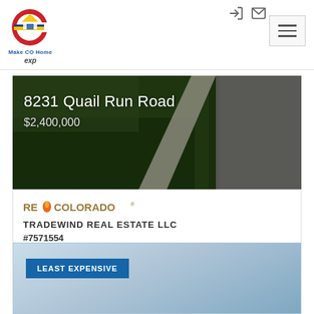Make CO Home / eXp Realty
[Figure (photo): Aerial/ground view of green lawn with a concrete path and dark asphalt road, background for real estate listing]
8231 Quail Run Road
$2,400,000
[Figure (logo): RE/Colorado logo with orange flame icon]
TRADEWIND REAL ESTATE LLC
#7571554
LEAST EXPENSIVE